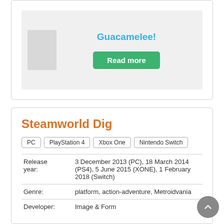[Figure (screenshot): Card with Guacamelee! game thumbnail placeholder and title link in blue]
Guacamelee!
Read more
Steamworld Dig
PC
PlayStation 4
Xbox One
Nintendo Switch
| Field | Value |
| --- | --- |
| Release year: | 3 December 2013 (PC), 18 March 2014 (PS4), 5 June 2015 (XONE), 1 February 2018 (Switch) |
| Genre: | platform, action-adventure, Metroidvania |
| Developer: | Image & Form |